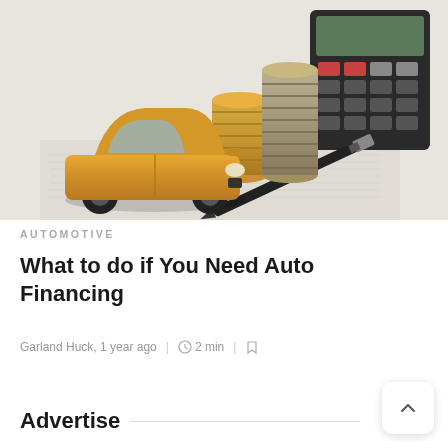[Figure (photo): A toy golden/orange car next to stacks of coins and a pen on financial documents, with a calculator in the background]
AUTOMOTIVE
What to do if You Need Auto Financing
Garland Huck, 1 year ago | 2 min |
Advertise